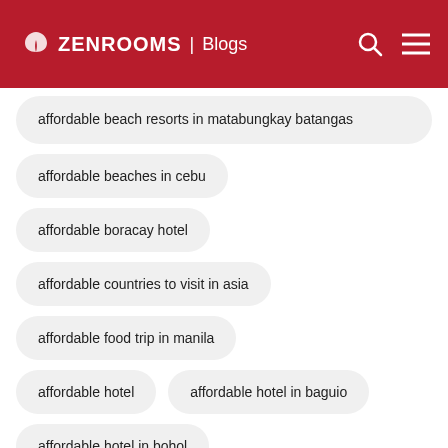ZEN ROOMS | Blogs
affordable beach resorts in matabungkay batangas
affordable beaches in cebu
affordable boracay hotel
affordable countries to visit in asia
affordable food trip in manila
affordable hotel
affordable hotel in baguio
affordable hotel in bohol
affordable hotel in vigan